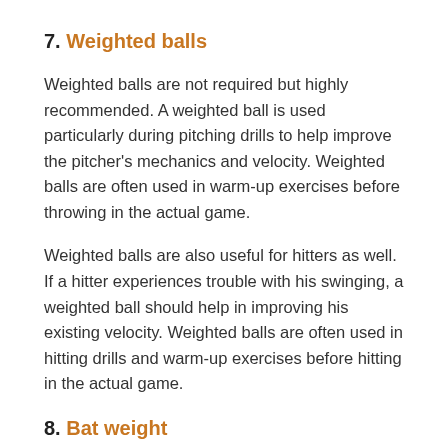7. Weighted balls
Weighted balls are not required but highly recommended. A weighted ball is used particularly during pitching drills to help improve the pitcher’s mechanics and velocity. Weighted balls are often used in warm-up exercises before throwing in the actual game.
Weighted balls are also useful for hitters as well. If a hitter experiences trouble with his swinging, a weighted ball should help in improving his existing velocity. Weighted balls are often used in hitting drills and warm-up exercises before hitting in the actual game.
8. Bat weight